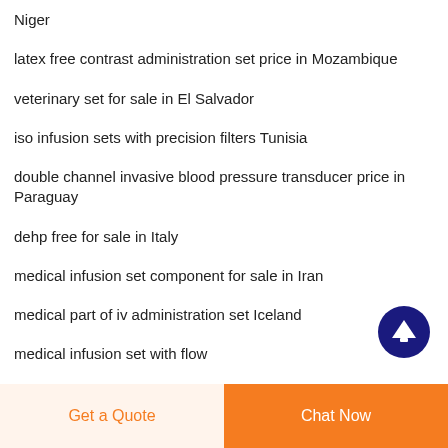Niger
latex free contrast administration set price in Mozambique
veterinary set for sale in El Salvador
iso infusion sets with precision filters Tunisia
double channel invasive blood pressure transducer price in Paraguay
dehp free for sale in Italy
medical infusion set component for sale in Iran
medical part of iv administration set Iceland
medical infusion set with flow